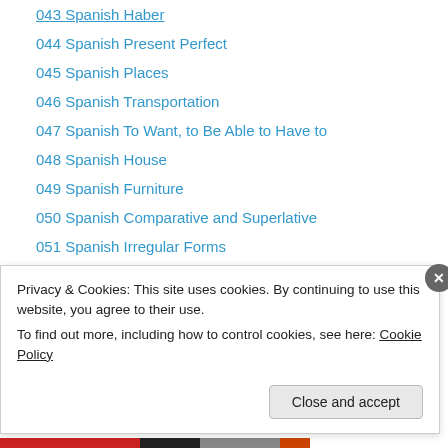043 Spanish Haber
044 Spanish Present Perfect
045 Spanish Places
046 Spanish Transportation
047 Spanish To Want, to Be Able to Have to
048 Spanish House
049 Spanish Furniture
050 Spanish Comparative and Superlative
051 Spanish Irregular Forms
052 Spanish Clothing
053 Spanish To Wear
054 Spanish Future Tenses
055 Spanish Preceding Adjectives
056 Spanish More Adjectives
Privacy & Cookies: This site uses cookies. By continuing to use this website, you agree to their use.
To find out more, including how to control cookies, see here: Cookie Policy